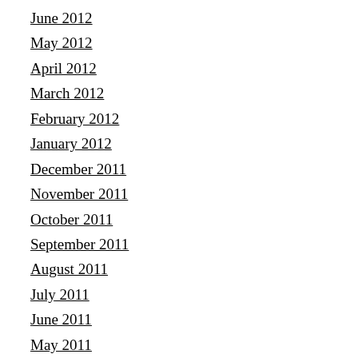June 2012
May 2012
April 2012
March 2012
February 2012
January 2012
December 2011
November 2011
October 2011
September 2011
August 2011
July 2011
June 2011
May 2011
April 2011
March 2011